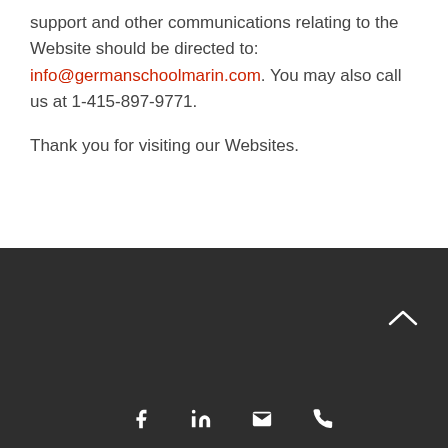support and other communications relating to the Website should be directed to: info@germanschoolmarin.com. You may also call us at 1-415-897-9771.
Thank you for visiting our Websites.
Footer with social icons: Facebook, LinkedIn, Email, Phone